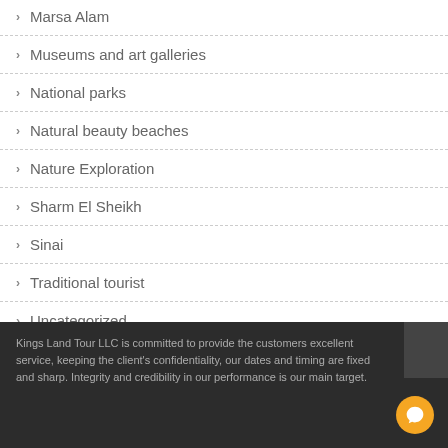Marsa Alam
Museums and art galleries
National parks
Natural beauty beaches
Nature Exploration
Sharm El Sheikh
Sinai
Traditional tourist
Uncategorized
Kings Land Tour LLC is committed to provide the customers excellent service, keeping the client's confidentiality, our dates and timing are fixed and sharp. Integrity and credibility in our performance is our main target.